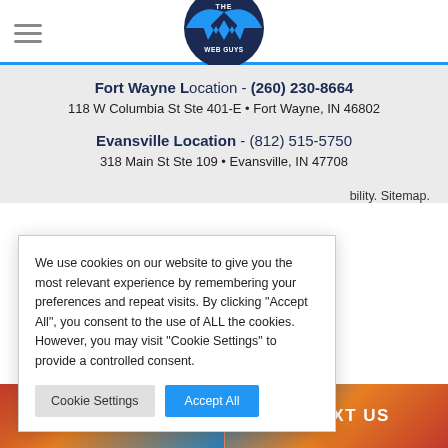The Web Guys logo and hamburger navigation
Fort Wayne Location - (260) 230-8664
118 W Columbia St Ste 401-E • Fort Wayne, IN 46802
Evansville Location - (812) 515-5750
318 Main St Ste 109 • Evansville, IN 47708
bility. Sitemap.
We use cookies on our website to give you the most relevant experience by remembering your preferences and repeat visits. By clicking "Accept All", you consent to the use of ALL the cookies. However, you may visit "Cookie Settings" to provide a controlled consent.
Cookie Settings | Accept All
LIVE CHAT | TEXT US